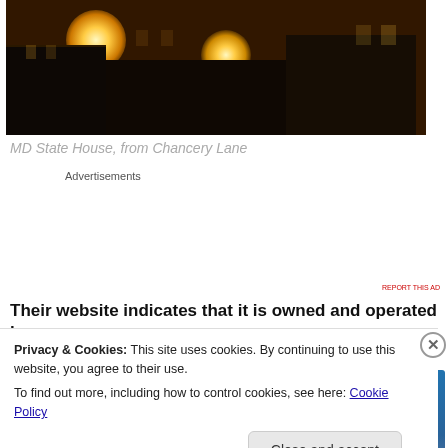[Figure (photo): Night photograph of MD State House viewed from Chancery Lane, showing building silhouettes with warm orange street light glows against a dark background]
MD State House, from Chancery Lane
Advertisements
[Figure (screenshot): Tumblr Ad-Free Browsing advertisement banner showing $39.99 a year or $4.99 a month pricing]
REPORT THIS AD
Their website indicates that it is owned and operated by
Privacy & Cookies: This site uses cookies. By continuing to use this website, you agree to their use.
To find out more, including how to control cookies, see here: Cookie Policy
Close and accept